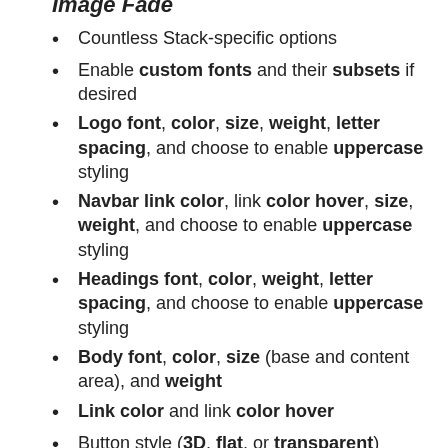Image Fade
Countless Stack-specific options
Enable custom fonts and their subsets if desired
Logo font, color, size, weight, letter spacing, and choose to enable uppercase styling
Navbar link color, link color hover, size, weight, and choose to enable uppercase styling
Headings font, color, weight, letter spacing, and choose to enable uppercase styling
Body font, color, size (base and content area), and weight
Link color and link color hover
Button style (3D, flat, or transparent)
Button shape (square, rounded, or pill)